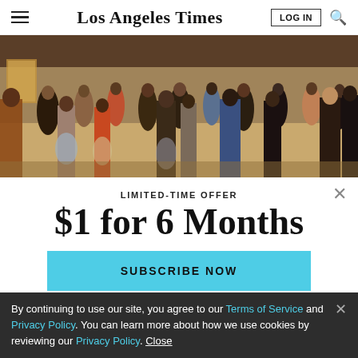Los Angeles Times
[Figure (illustration): Painting showing a crowd of people in an indoor market or public space, impressionist style with warm ochre/brown tones and colorful clothing]
LIMITED-TIME OFFER
$1 for 6 Months
SUBSCRIBE NOW
By continuing to use our site, you agree to our Terms of Service and Privacy Policy. You can learn more about how we use cookies by reviewing our Privacy Policy. Close